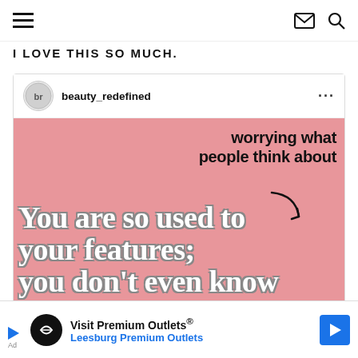Navigation bar with hamburger menu, mail icon, search icon
I LOVE THIS SO MUCH.
beauty_redefined
[Figure (screenshot): Pink background image with text: 'worrying what people think about' in black sans-serif at top right, with a downward curved arrow. Large white retro text reads: 'You are so used to your features; you don't even know how beautiful you' (cut off). 'beautiful you' has strikethrough styling.]
Visit Premium Outlets® Leesburg Premium Outlets